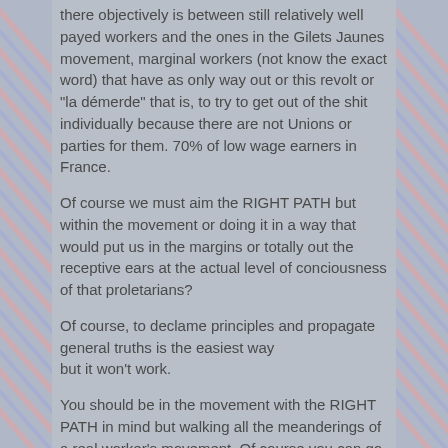there objectively is between still relatively well payed workers and the ones in the Gilets Jaunes movement, marginal workers (not know the exact word) that have as only way out or this revolt or "la démerde" that is, to try to get out of the shit individually because there are not Unions or parties for them. 70% of low wage earners in France.
Of course we must aim the RIGHT PATH but within the movement or doing it in a way that would put us in the margins or totally out the receptive ears at the actual level of conciousness of that proletarians?
Of course, to declame principles and propagate general truths is the easiest way
but it won't work.
You should be in the movement with the RIGHT PATH in mind but walking all the meanderings of a real worker's movement. Of course you can go quicklier with some of the more concious worker's but you should be carefull enough to not to separate of the fighting masses and THINK EVERY STEP of the movement